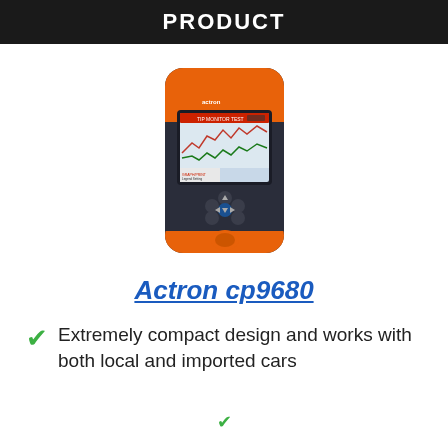PRODUCT
[Figure (photo): Actron cp9680 OBD2 diagnostic scanner device with orange and dark gray body, color LCD screen showing graphs, and multiple control buttons]
Actron cp9680
Extremely compact design and works with both local and imported cars